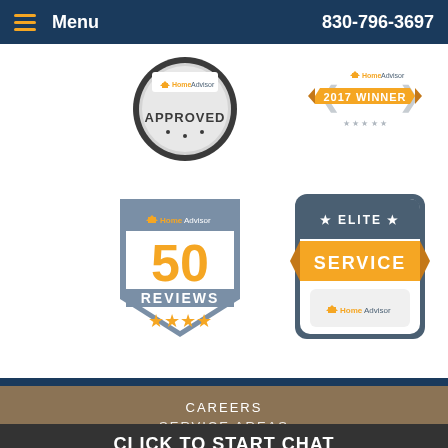Menu  830-796-3697
[Figure (logo): HomeAdvisor Approved badge - circular seal with text APPROVED]
[Figure (logo): HomeAdvisor 2017 Winner badge - orange ribbon banner with HomeAdvisor logo]
[Figure (logo): HomeAdvisor 50 Reviews shield badge with 4 stars]
[Figure (logo): HomeAdvisor Elite Service badge - orange banner with ELITE SERVICE text and stars]
CAREERS
SERVICE AREAS
CLICK TO START CHAT